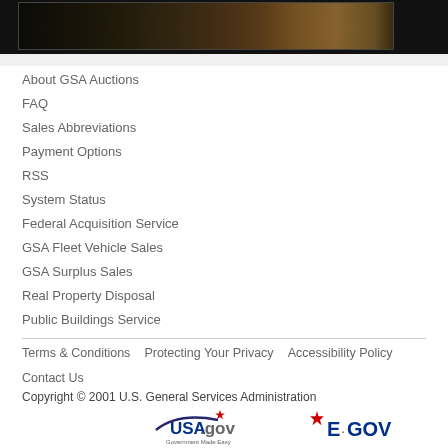[Figure (photo): Dark photograph strip at top of page, partially visible, appears to show outdoor scene]
About GSA Auctions
FAQ
Sales Abbreviations
Payment Options
RSS
System Status
Federal Acquisition Service
GSA Fleet Vehicle Sales
GSA Surplus Sales
Real Property Disposal
Public Buildings Service
Terms & Conditions   Protecting Your Privacy   Accessibility Policy   Contact Us
Copyright © 2001 U.S. General Services Administration
[Figure (logo): USA.gov Government Made Easy logo]
[Figure (logo): E-GOV logo with red star]